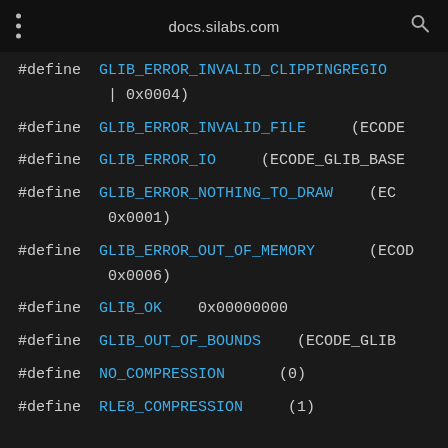docs.silabs.com
#define   GLIB_ERROR_INVALID_CLIPPINGREGION   (ECODE_GLIB_BASE | 0x0004)
#define   GLIB_ERROR_INVALID_FILE   (ECODE_...
#define   GLIB_ERROR_IO   (ECODE_GLIB_BASE...
#define   GLIB_ERROR_NOTHING_TO_DRAW   (ECODE_... 0x0001)
#define   GLIB_ERROR_OUT_OF_MEMORY   (ECODE_... 0x0006)
#define   GLIB_OK   0x00000000
#define   GLIB_OUT_OF_BOUNDS   (ECODE_GLIB...
#define   NO_COMPRESSION   (0)
#define   RLE8_COMPRESSION   (1)